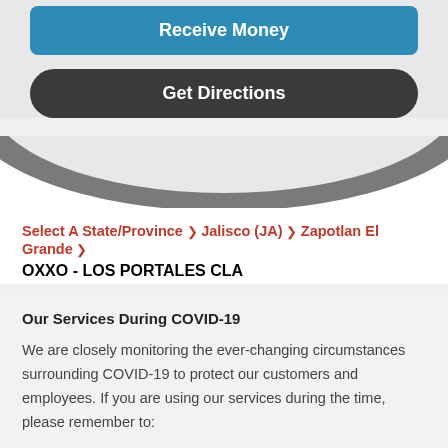[Figure (screenshot): Blue rounded button labeled Receive Money at top]
[Figure (screenshot): Dark rounded button labeled Get Directions]
[Figure (infographic): Gray arc divider between top card and page content]
Select A State/Province > Jalisco (JA) > Zapotlan El Grande > OXXO - LOS PORTALES CLA
Our Services During COVID-19
We are closely monitoring the ever-changing circumstances surrounding COVID-19 to protect our customers and employees. If you are using our services during the time, please remember to: